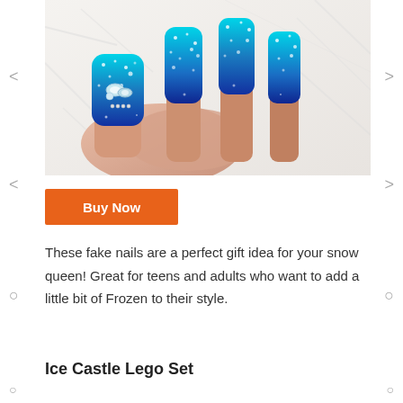[Figure (photo): Close-up photo of a hand with blue and teal ombre glitter fake nails decorated with rhinestones and snowflake designs, resting on white fur fabric.]
Buy Now
These fake nails are a perfect gift idea for your snow queen! Great for teens and adults who want to add a little bit of Frozen to their style.
Ice Castle Lego Set